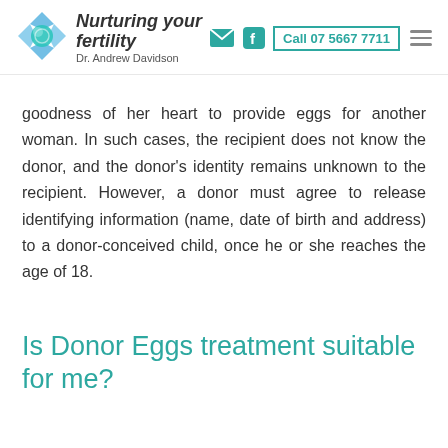Nurturing your fertility | Dr. Andrew Davidson | Call 07 5667 7711
goodness of her heart to provide eggs for another woman. In such cases, the recipient does not know the donor, and the donor's identity remains unknown to the recipient. However, a donor must agree to release identifying information (name, date of birth and address) to a donor-conceived child, once he or she reaches the age of 18.
Is Donor Eggs treatment suitable for me?